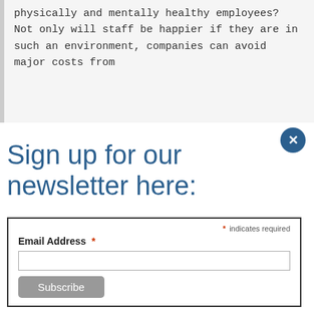physically and mentally healthy employees? Not only will staff be happier if they are in such an environment, companies can avoid major costs from
Sign up for our newsletter here:
[Figure (screenshot): Newsletter signup form with email address field, required indicator, and Subscribe button inside a bordered box. A dark blue circular close button with X is in the top-right corner.]